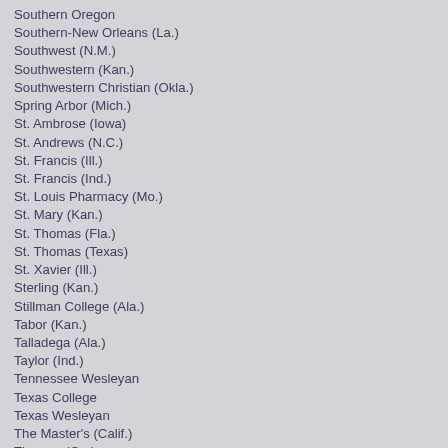Southern Oregon
Southern-New Orleans (La.)
Southwest (N.M.)
Southwestern (Kan.)
Southwestern Christian (Okla.)
Spring Arbor (Mich.)
St. Ambrose (Iowa)
St. Andrews (N.C.)
St. Francis (Ill.)
St. Francis (Ind.)
St. Louis Pharmacy (Mo.)
St. Mary (Kan.)
St. Thomas (Fla.)
St. Thomas (Texas)
St. Xavier (Ill.)
Sterling (Kan.)
Stillman College (Ala.)
Tabor (Kan.)
Talladega (Ala.)
Taylor (Ind.)
Tennessee Wesleyan
Texas College
Texas Wesleyan
The Master's (Calif.)
Thomas (Ga.)
Tougaloo (Miss.)
Trinity Christian (Ill.)
Trinity International (Ill.)
Truett McConnell (Ga.)
UC Merced (Calif.)